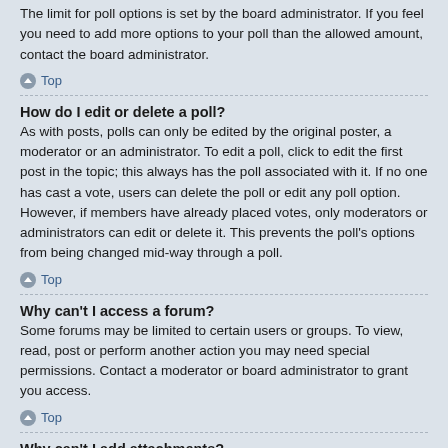The limit for poll options is set by the board administrator. If you feel you need to add more options to your poll than the allowed amount, contact the board administrator.
Top
How do I edit or delete a poll?
As with posts, polls can only be edited by the original poster, a moderator or an administrator. To edit a poll, click to edit the first post in the topic; this always has the poll associated with it. If no one has cast a vote, users can delete the poll or edit any poll option. However, if members have already placed votes, only moderators or administrators can edit or delete it. This prevents the poll's options from being changed mid-way through a poll.
Top
Why can't I access a forum?
Some forums may be limited to certain users or groups. To view, read, post or perform another action you may need special permissions. Contact a moderator or board administrator to grant you access.
Top
Why can't I add attachments?
Attachment permissions are granted on a per forum, per group, or per user basis. The board administrator may not have allowed attachments to be added for the specific forum you are posting in, or perhaps only certain groups can post attachments.